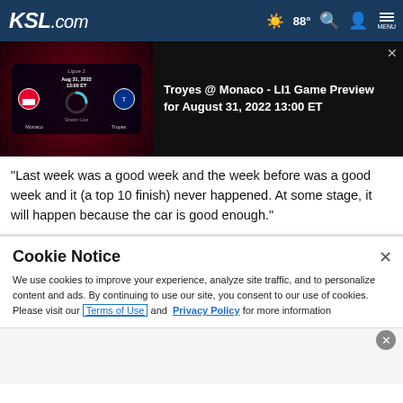KSL.com  88°  MENU
[Figure (screenshot): Game preview banner showing Monaco vs Troyes match card with loading spinner, date Aug 31, 2022 13:00 ET, on dark red geometric background]
Troyes @ Monaco - LI1 Game Preview for August 31, 2022 13:00 ET
"Last week was a good week and the week before was a good week and it (a top 10 finish) never happened. At some stage, it will happen because the car is good enough."
Cookie Notice
We use cookies to improve your experience, analyze site traffic, and to personalize content and ads. By continuing to use our site, you consent to our use of cookies. Please visit our Terms of Use and  Privacy Policy for more information